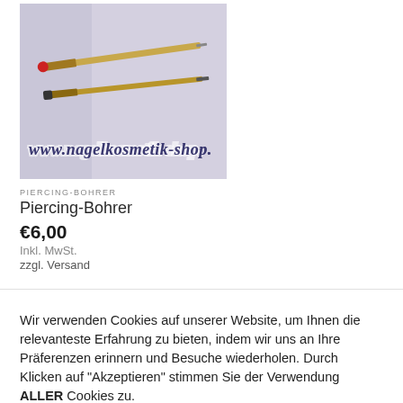[Figure (photo): Product photo of a piercing drill/Piercing-Bohrer tool against a light purple background with 'www.nagelkosmetik-shop.' watermark text visible.]
PIERCING-BOHRER
Piercing-Bohrer
€6,00
Inkl. MwSt.
zzgl. Versand
Wir verwenden Cookies auf unserer Website, um Ihnen die relevanteste Erfahrung zu bieten, indem wir uns an Ihre Präferenzen erinnern und Besuche wiederholen. Durch Klicken auf "Akzeptieren" stimmen Sie der Verwendung ALLER Cookies zu.
Cookie settings
AKZEPTIEREN